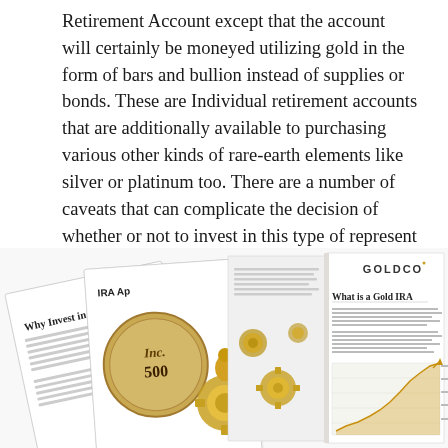Retirement Account except that the account will certainly be moneyed utilizing gold in the form of bars and bullion instead of supplies or bonds. These are Individual retirement accounts that are additionally available to purchasing various other kinds of rare-earth elements like silver or platinum too. There are a number of caveats that can complicate the decision of whether or not to invest in this type of represent your retirement.
[Figure (illustration): Three Goldco branded brochures/booklets fanned out showing: left booklet titled 'Why Invest in...' with text and 'Investment Guide' at bottom, middle booklet showing 'IRA Ap...' title with Inc. 500 coin and gold figurines, right booklet (open) showing 'GOLDCO' logo, 'What is a Gold IRA' heading, body text paragraphs and a gold chart/graph with rising arrow. Gold decorative elements including coins and figurines are visible between the booklets.]